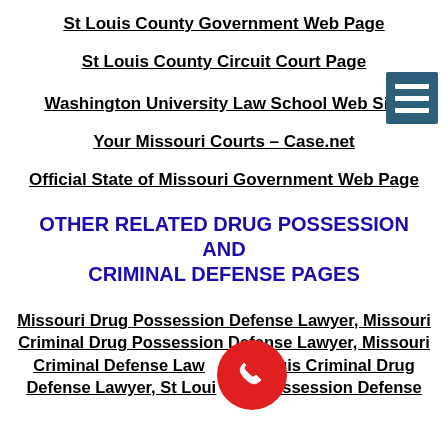St Louis County Government Web Page
St Louis County Circuit Court Page
Washington University Law School Web Site
Your Missouri Courts – Case.net
Official State of Missouri Government Web Page
OTHER RELATED DRUG POSSESSION AND CRIMINAL DEFENSE PAGES
Missouri Drug Possession Defense Lawyer, Missouri Criminal Drug Possession Defense Lawyer, Missouri Criminal Defense Lawyer, St Louis Criminal Drug Defense Lawyer, St Louis Drug Possession Defense